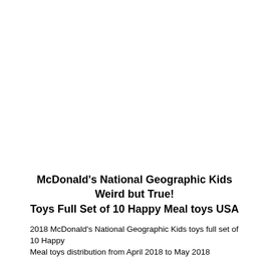McDonald's National Geographic Kids Weird but True! Toys Full Set of 10 Happy Meal toys USA
2018 McDonald's National Geographic Kids toys full set of 10 Happy Meal toys distribution from April 2018 to May 2018